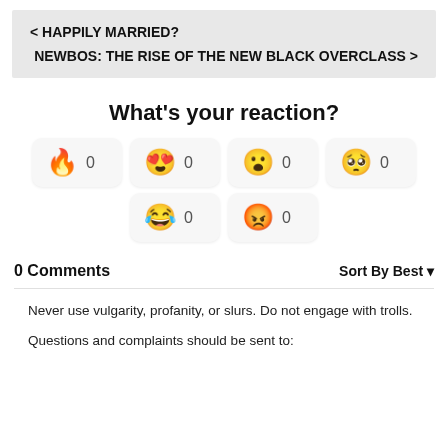< HAPPILY MARRIED?
NEWBOS: THE RISE OF THE NEW BLACK OVERCLASS >
What's your reaction?
[Figure (infographic): Reaction buttons with emojis: fire (0), smiling face with heart eyes (0), surprised face (0), crying face (0), laughing crying face (0), angry face (0)]
0 Comments    Sort By Best ▾
Never use vulgarity, profanity, or slurs. Do not engage with trolls.
Questions and complaints should be sent to: